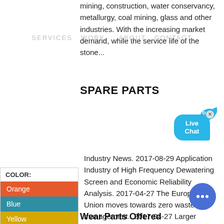mining, construction, water conservancy, metallurgy, coal mining, glass and other industries. With the increasing market demand, while the service life of the stone...
SERVICES  WORK    ABOUT  CONTACT
SPARE PARTS
[Figure (illustration): Live Chat speech bubble icon in blue with fish/cursor graphic and close X button]
Industry News. 2017-08-29 Application Industry of High Frequency Dewatering Screen and Economic Reliability Analysis. 2017-04-27 The European Union moves towards zero waste management.. 2017-04-27 Larger Chinese medicine powder market ...
| COLOR: |
| --- |
| Orange |
| Blue |
| Yellow |
[Figure (illustration): Round blue chat button with three white dots]
Wear Parts Offered